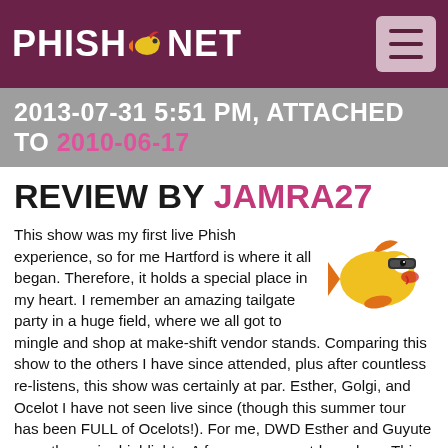PHISH.NET
2013-07-31 5:51 PM, ATTACHED TO 2010-06-17
REVIEW BY JAMRA27
[Figure (illustration): Phish cartoon fish mascot with sunglasses]
This show was my first live Phish experience, so for me Hartford is where it all began. Therefore, it holds a special place in my heart. I remember an amazing tailgate party in a huge field, where we all got to mingle and shop at make-shift vendor stands. Comparing this show to the others I have since attended, plus after countless re-listens, this show was certainly at par. Esther, Golgi, and Ocelot I have not seen live since (though this summer tour has been FULL of Ocelots!). For me, DWD Esther and Guyute were the major highlights. A fun, summer outdoor show. This tour I'll be attending Hollywood and Dicks for for the first time;